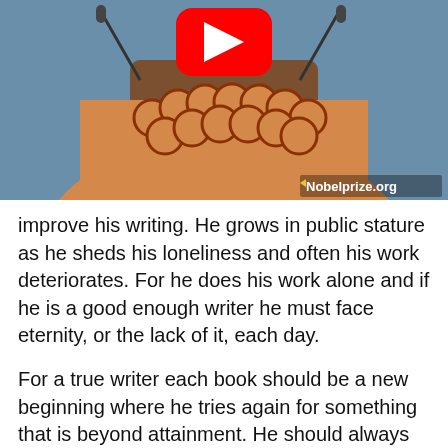[Figure (photo): Video thumbnail showing a woman in an orange dress with a large circular necklace speaking at a podium with microphones. A YouTube play button overlay is visible at the top center. A watermark reading 'Nobelprize.org' appears in the lower right corner.]
improve his writing. He grows in public stature as he sheds his loneliness and often his work deteriorates. For he does his work alone and if he is a good enough writer he must face eternity, or the lack of it, each day.
For a true writer each book should be a new beginning where he tries again for something that is beyond attainment. He should always try for something that has never been done or that others have tried and failed. Then sometimes, with great luck, he will succeed.
How simple the writing of literature would be if it were